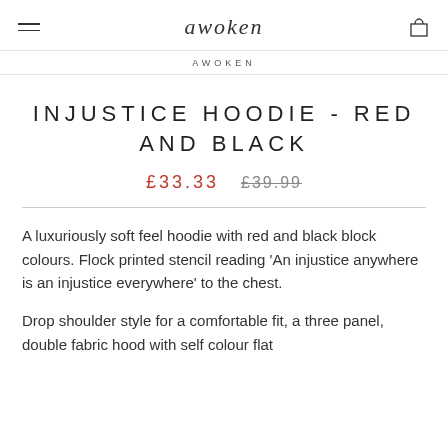awoken
AWOKEN
INJUSTICE HOODIE - RED AND BLACK
£33.33  £39.99
A luxuriously soft feel hoodie with red and black block colours. Flock printed stencil reading 'An injustice anywhere is an injustice everywhere' to the chest.
Drop shoulder style for a comfortable fit, a three panel, double fabric hood with self colour flat